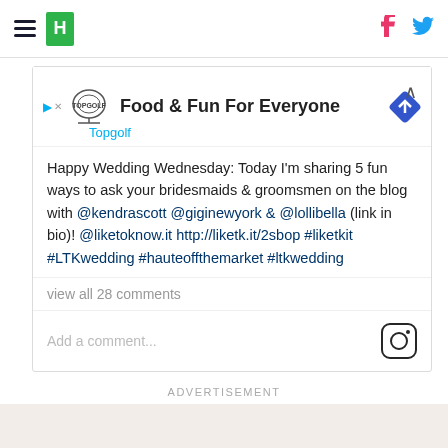HuffPost navigation with hamburger menu, logo, Facebook and Twitter icons
[Figure (screenshot): Advertisement banner: TopGolf logo with play/close buttons, text 'Food & Fun For Everyone', navigation diamond icon, collapse chevron, and 'Topgolf' label in cyan]
Happy Wedding Wednesday: Today I'm sharing 5 fun ways to ask your bridesmaids & groomsmen on the blog with @kendrascott @giginewyork & @lollibella (link in bio)! @liketoknow.it http://liketk.it/2sbop #liketkit #LTKwedding #hauteoffthemarket #ltkwedding
view all 28 comments
Add a comment...
ADVERTISEMENT